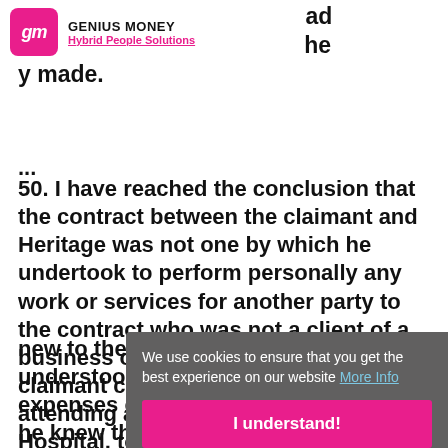em after the relationship had claimed did not agree to the y made.
GENIUS MONEY | Hybrid People Solutions
...
50. I have reached the conclusion that the contract between the claimant and Heritage was not one by which he undertook to perform personally any work or services for another party to the contract who was not a client of a business operated by the claimant. The claimant could not be said, by attending and working at Broadmoor Hospital, to be working for Heritage in any meaningful way. More to the point, although this working arrangement was new to the claimant, understood that he expenses of travell he knew that Heritage were the payroll
We use cookies to ensure that you get the best experience on our website  More Info
I understand!